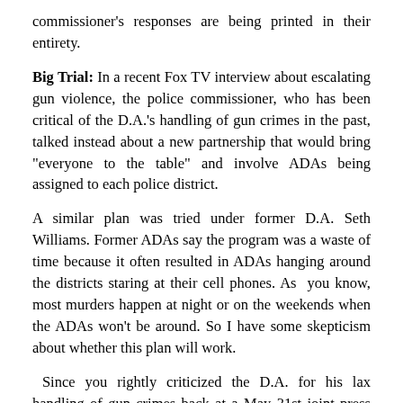commissioner's responses are being printed in their entirety.
Big Trial: In a recent Fox TV interview about escalating gun violence, the police commissioner, who has been critical of the D.A.'s handling of gun crimes in the past, talked instead about a new partnership that would bring “everyone to the table” and involve ADAs being assigned to each police district.
A similar plan was tried under former D.A. Seth Williams. Former ADAs say the program was a waste of time because it often resulted in ADAs hanging around the districts staring at their cell phones. As  you know, most murders happen at night or on the weekends when the ADAs won’t be around. So I have some skepticism about whether this plan will work.
Since you rightly criticized the D.A. for his lax handling of gun crimes back at a May 31st joint press conference with the mayor, have you seen any signs that the D.A. is